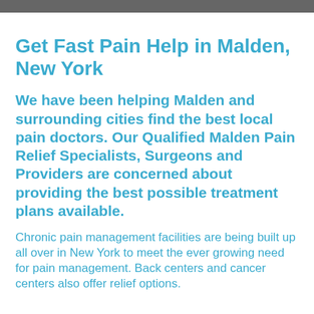Get Fast Pain Help in Malden, New York
We have been helping Malden and surrounding cities find the best local pain doctors. Our Qualified Malden Pain Relief Specialists, Surgeons and Providers are concerned about providing the best possible treatment plans available.
Chronic pain management facilities are being built up all over in New York to meet the ever growing need for pain management. Back centers and cancer centers also offer relief options.